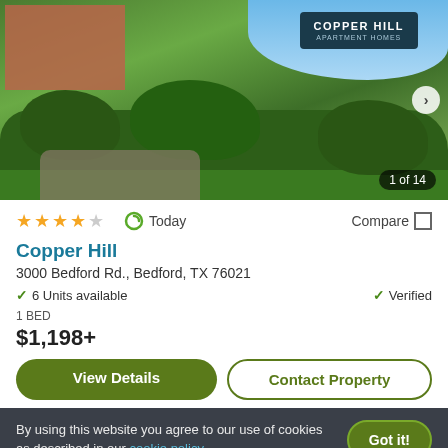[Figure (photo): Exterior photo of Copper Hill Apartment Homes showing landscaped entrance with green bushes, brick building, and signage. Shows '1 of 14' counter.]
★★★★☆  Today  Compare
Copper Hill
3000 Bedford Rd., Bedford, TX 76021
✓ 6 Units available   ✓ Verified
1 BED
$1,198+
View Details   Contact Property
By using this website you agree to our use of cookies as described in our cookie policy.